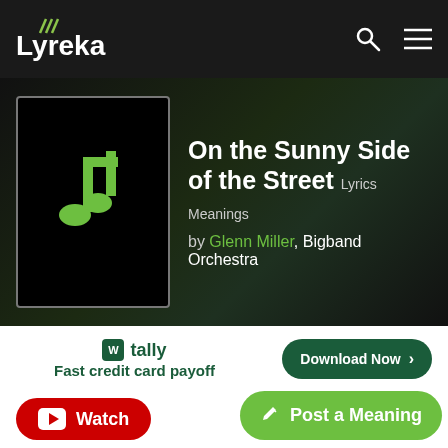Lyreka
On the Sunny Side of the Street Lyrics Meanings by Glenn Miller, Bigband Orchestra
[Figure (logo): Music note icon on black background representing album art]
tally Fast credit card payoff Download Now →
Watch
"On the Sunny Side of the Street" Lyrics
Play "On the Sunny Side..." on Apple Music
Post a Meaning